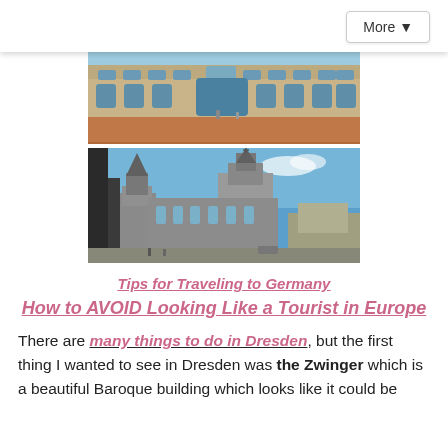More ▼
[Figure (photo): Top portion: Zwinger palace baroque facade with arched windows and ornate stonework, brownish-red courtyard, blue sky above. Bottom portion: Dresden Cathedral (Hofkirche) with tall baroque towers against a blue sky, viewed from street level with statues in foreground.]
Tips for Traveling to Germany
How to AVOID Looking Like a Tourist in Europe
There are many things to do in Dresden, but the first thing I wanted to see in Dresden was the Zwinger which is a beautiful Baroque building which looks like it could be